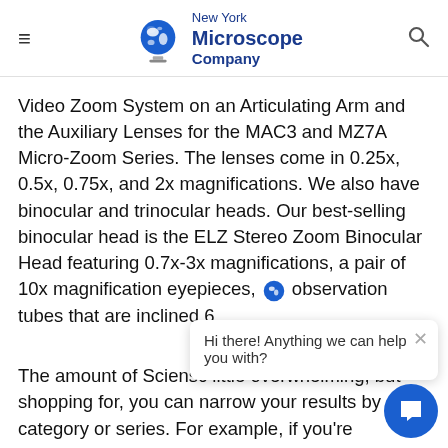New York Microscope Company
Video Zoom System on an Articulating Arm and the Auxiliary Lenses for the MAC3 and MZ7A Micro-Zoom Series. The lenses come in 0.25x, 0.5x, 0.75x, and 2x magnifications. We also have binocular and trinocular heads. Our best-selling binocular head is the ELZ Stereo Zoom Binocular Head featuring 0.7x-3x magnifications, a pair of 10x magnification eyepieces, observation tubes that are inclined 6
The amount of Sciensc little overwhelming, but ... shopping for, you can narrow your results by category or series. For example, if you're specifically looking f digital microscope from the MACRO series, you ca check both boxes on the left side of the page to find the